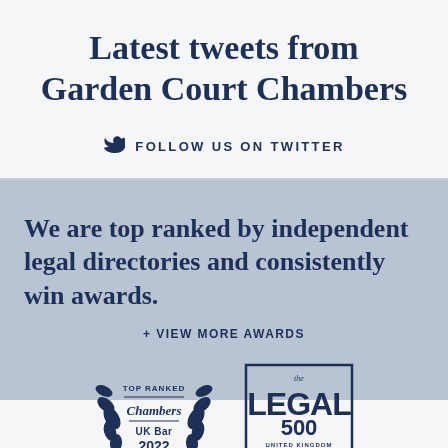Latest tweets from Garden Court Chambers
FOLLOW US ON TWITTER
We are top ranked by independent legal directories and consistently win awards.
+ VIEW MORE AWARDS
[Figure (logo): TOP RANKED Chambers UK Bar 2022 laurel wreath badge]
[Figure (logo): The Legal 500 United Kingdom Top Tier Set badge]